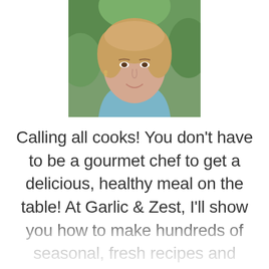[Figure (photo): Headshot photo of a woman with shoulder-length blonde hair wearing a light blue shirt, smiling, with green foliage in the background]
Calling all cooks! You don't have to be a gourmet chef to get a delicious, healthy meal on the table! At Garlic & Zest, I'll show you how to make hundreds of seasonal, fresh recipes and indulgent comfort foods with easy step-by-step instructions and photos to help you